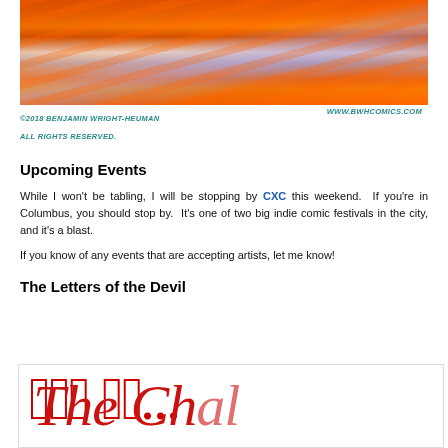[Figure (illustration): Comic book style illustration with orange and purple/grey swirling colors, abstract comic art]
©2018 BENJAMIN WRIGHT-HEUMAN ALL RIGHTS RESERVED. WWW.BWHCOMICS.COM
Upcoming Events
While I won't be tabling, I will be stopping by CXC this weekend. If you're in Columbus, you should stop by. It's one of two big indie comic festivals in the city, and it's a blast.
If you know of any events that are accepting artists, let me know!
The Letters of the Devil
[Figure (illustration): Red cursive script text beginning 'The Ch...' on white background]